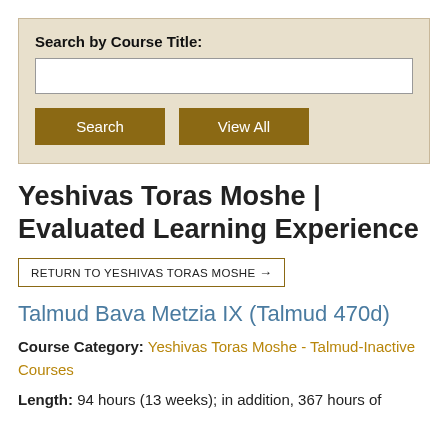Search by Course Title:
Search | View All
Yeshivas Toras Moshe | Evaluated Learning Experience
RETURN TO YESHIVAS TORAS MOSHE →
Talmud Bava Metzia IX (Talmud 470d)
Course Category: Yeshivas Toras Moshe - Talmud-Inactive Courses
Length: 94 hours (13 weeks); in addition, 367 hours of